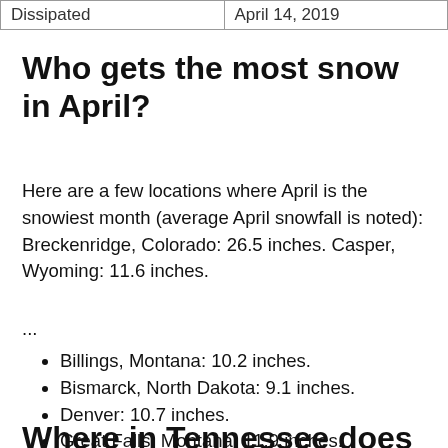| Dissipated | April 14, 2019 |
Who gets the most snow in April?
Here are a few locations where April is the snowiest month (average April snowfall is noted): Breckenridge, Colorado: 26.5 inches. Casper, Wyoming: 11.6 inches.
...
Billings, Montana: 10.2 inches.
Bismarck, North Dakota: 9.1 inches.
Denver: 10.7 inches.
Great Falls, Montana: 11.9 inches.
Rapid City, South Dakota: 8.6 inches.
Where in Tennessee does it